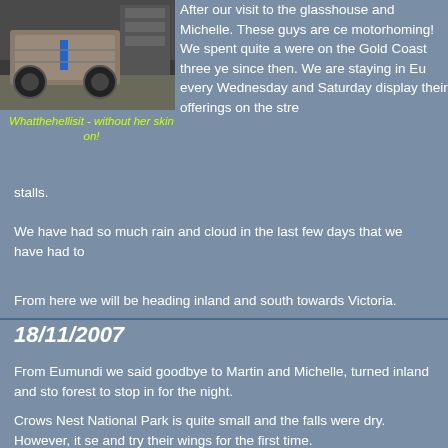[Figure (photo): Photo of a vehicle/motorhome chassis without its outer skin, in a workshop setting]
Whatthehellisit - without her skin on!
After our visit to the glasshouse and Michelle. These guys are ce motorhoming! We spent quite a were on the Gold Coast three ye since then. We are staying in Eu every Wednesday and Saturday display their offerings on the stre stalls.
We have have had so much rain and cloud in the last few days that we have had to
From here we will be heading inland and south towards Victoria.
18/11/2007
From Eumundi we said goodbye to Martin and Michelle, turned inland and sto forest to stop in for the night.
Crows Nest National Park is quite small and the falls were dry. However, it se and try their wings for the first time.
We watched and photographed one specimen for over an hour - it was amazi insect slowly extract itself from the old body. It took a further hour for its wings